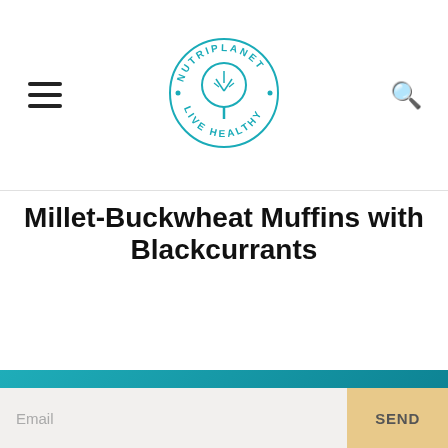NUTRIPLANET · LIVE HEALTHY (logo)
Millet-Buckwheat Muffins with Blackcurrants
Written by Nele Liivlaid   Published on September 22
[Figure (infographic): Teal popup banner with a paper plane icon, headline 'FREE 85-page E-BOOK', subtitle 'Guide to Transitioning to Healthy Whole Food Diet', email input field, and SEND button. Close (×) icon in top right.]